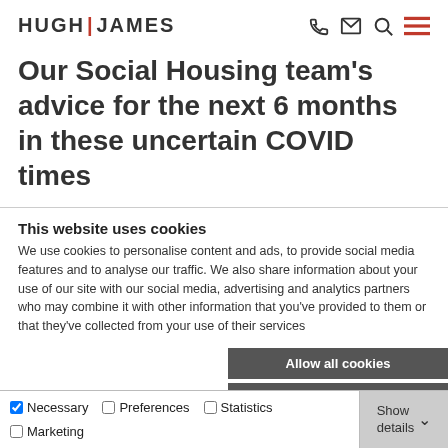HUGH | JAMES
Our Social Housing team's advice for the next 6 months in these uncertain COVID times
This website uses cookies
We use cookies to personalise content and ads, to provide social media features and to analyse our traffic. We also share information about your use of our site with our social media, advertising and analytics partners who may combine it with other information that you've provided to them or that they've collected from your use of their services
Allow all cookies
Allow selection
Use necessary cookies only
Necessary  Preferences  Statistics  Marketing  Show details